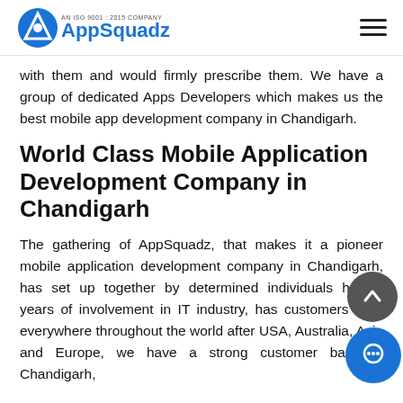AppSquadz — AN ISO 9001:2015 COMPANY
with them and would firmly prescribe them. We have a group of dedicated Apps Developers which makes us the best mobile app development company in Chandigarh.
World Class Mobile Application Development Company in Chandigarh
The gathering of AppSquadz, that makes it a pioneer mobile application development company in Chandigarh, has set up together by determined individuals having years of involvement in IT industry, has customers from everywhere throughout the world after USA, Australia, Asia and Europe, we have a strong customer base in Chandigarh,